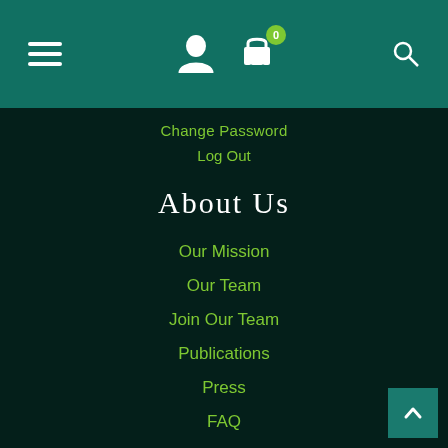Navigation header with hamburger menu, user icon, cart icon (badge: 0), search icon
Change Password
Log Out
About Us
Our Mission
Our Team
Join Our Team
Publications
Press
FAQ
Terms of Use
Privacy & Cookies